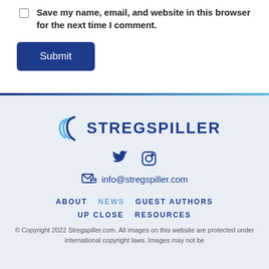Save my name, email, and website in this browser for the next time I comment.
[Figure (other): Submit button - dark blue rounded rectangle with white text 'Submit']
[Figure (logo): Stregspiller logo with stylized swoosh icon and bold dark blue text 'STREGSPILLER']
[Figure (other): Social media icons: Twitter bird and Instagram camera icons in dark blue]
info@stregspiller.com
ABOUT   NEWS   GUEST AUTHORS
UP CLOSE   RESOURCES
© Copyright 2022 Stregspiller.com. All images on this website are protected under international copyright laws. Images may not be